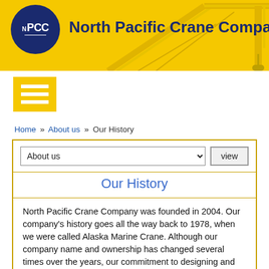[Figure (logo): North Pacific Crane Company logo with dark blue circular NPCC logo on yellow header bar with crane graphic in background. Company name in bold dark blue text.]
Home » About us »  Our History
About us  view
Our History
North Pacific Crane Company was founded in 2004. Our company's history goes all the way back to 1978, when we were called Alaska Marine Crane. Although our company name and ownership has changed several times over the years, our commitment to designing and manufacturing high-quality marine, offshore, and dock cranes has remained constant throughout our 30-year history.
Since 1978, we have delivered over 2,000 cranes. Many of our original cranes — including some we delivered back in the late 1970's and early 1980's — are still in operation. Our long-time customers still return to us for replacement parts and consulting, and still recommend us to new